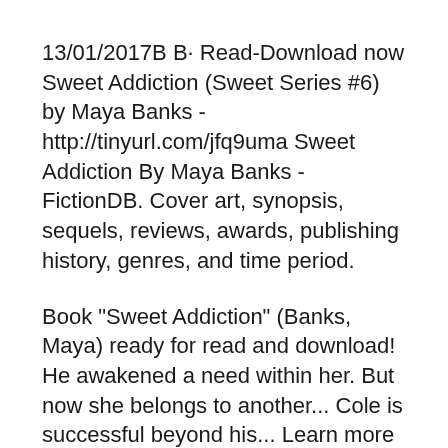13/01/2017B B· Read-Download now Sweet Addiction (Sweet Series #6) by Maya Banks - http://tinyurl.com/jfq9uma Sweet Addiction By Maya Banks - FictionDB. Cover art, synopsis, sequels, reviews, awards, publishing history, genres, and time period.
Book "Sweet Addiction" (Banks, Maya) ready for read and download! He awakened a need within her. But now she belongs to another... Cole is successful beyond his... Learn more about Sweet Addiction in the Denver Public Library FROM NEW YORK TIMES BESTSELLING AUTHOR OF THE BREATHLESS TRILOGY MAYA BANKS